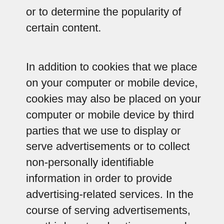or to determine the popularity of certain content.
In addition to cookies that we place on your computer or mobile device, cookies may also be placed on your computer or mobile device by third parties that we use to display or serve advertisements or to collect non-personally identifiable information in order to provide advertising-related services. In the course of serving advertisements, our third-party advertisers may place or recognize unique cookies on your